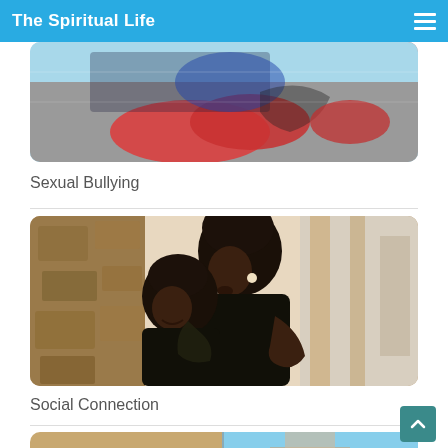The Spiritual Life
[Figure (photo): Partial view of a photo showing what appears to be a red painted surface or hand on concrete, cropped at top of card]
Sexual Bullying
[Figure (photo): Two Black women embracing against a textured stone wall; the taller woman with short natural hair kisses the forehead of a shorter woman who smiles with eyes closed]
Social Connection
[Figure (photo): Split image showing the words RICH and POOR in large bold text, partially visible at the bottom of the page]